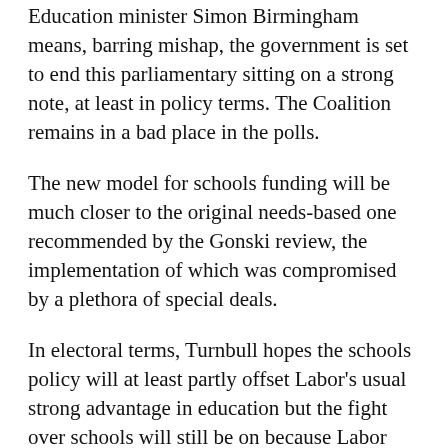Education minister Simon Birmingham means, barring mishap, the government is set to end this parliamentary sitting on a strong note, at least in policy terms. The Coalition remains in a bad place in the polls.
The new model for schools funding will be much closer to the original needs-based one recommended by the Gonski review, the implementation of which was compromised by a plethora of special deals.
In electoral terms, Turnbull hopes the schools policy will at least partly offset Labor's usual strong advantage in education but the fight over schools will still be on because Labor will be promising a big extra boost to funding.
To get its legislation through, the government has